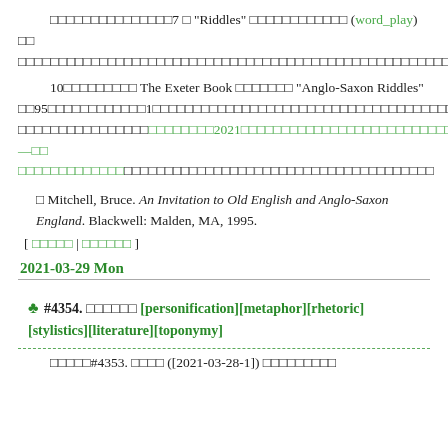□□□□□□□□□□□□□□□7 □ "Riddles" □□□□□□□□□□□□ (word_play) □□ □□□□□□□□□□□□□□□□□□□□□□□□□□□□□□□□□□□□□□□□□□□□□□□□□□□□□□□□□□□□□□□□□□□□□□□□□□□□□□□□□□□□□□□□□□□□□□□□□□□□□□□□□□□□
10□□□□□□□□□ The Exeter Book □□□□□□□ "Anglo-Saxon Riddles" □□95□□□□□□□□□□□□1□□□□□□□□□□□□□□□□□□□□□□□□□□□□□□□□□□□□□□□□□□□□□□□□□□□2021□□□□□□□□□□□□□□□□□□□□□□□□□□□—□□□□□□□□□□□□□□□□□□□□□□□□□□□□□□□□□□□□□□□□□□□□□□□
□ Mitchell, Bruce. An Invitation to Old English and Anglo-Saxon England. Blackwell: Malden, MA, 1995.
[ □□□□□ | □□□□□□ ]
2021-03-29 Mon
🍀 #4354. □□□□□□ [personification][metaphor][rhetoric][stylistics][literature][toponymy]
□□□□□#4353. □□□□ ([2021-03-28-1]) □□□□□□□□□